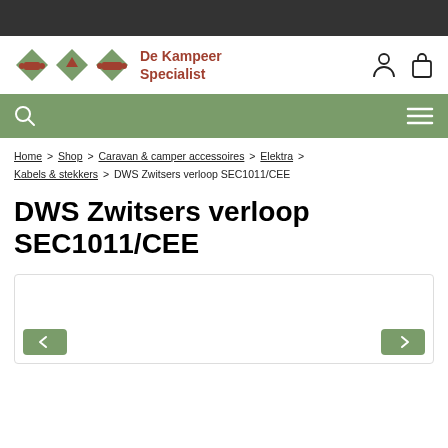De Kampeer Specialist
Home > Shop > Caravan & camper accessoires > Elektra > Kabels & stekkers > DWS Zwitsers verloop SEC1011/CEE
DWS Zwitsers verloop SEC1011/CEE
[Figure (photo): Product image area for DWS Zwitsers verloop SEC1011/CEE with navigation arrows]